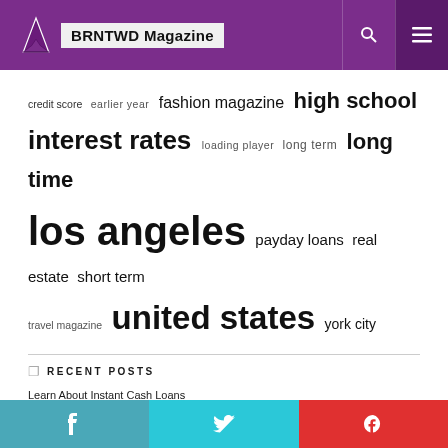BRNTWD Magazine
[Figure (infographic): Tag cloud with terms of varying sizes: credit score, earlier year, fashion magazine, high school, interest rates, loading player, long term, long time, los angeles, payday loans, real estate, short term, travel magazine, united states, york city]
RECENT POSTS
Learn About Instant Cash Loans
Puttery Chicago is about to open – Urban Spin on Golf is coming to Fulton Market with curated cuisine and craft cocktails – Hiring and booking events now
Deloitte's Dan Berner: How business can help create a sustainable future
A Definitive Summary of FSU Arts Clubs